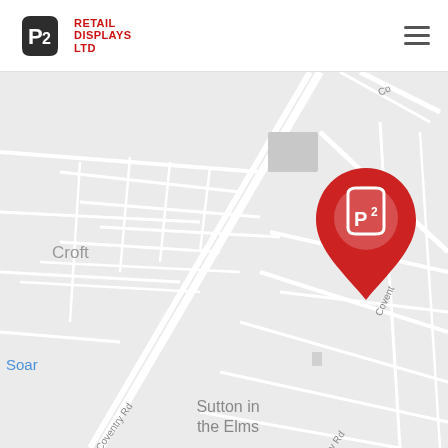Retail Displays Ltd — navigation header with logo and hamburger menu
[Figure (map): Google Maps style street map showing Croft and Sutton in the Elms area in Leicestershire, UK. Roads include Coventry Rd. A red map pin with the Retail Displays Ltd logo (P2 icon) marks the company location near Croft. Place names visible: Croft (left), Sutton in the Elms (bottom center), Soar (bottom left). Road labels: Coventry Rd (multiple), Co... (top right, Coventry road partial). Gray roads on light gray background typical of Google Maps.]